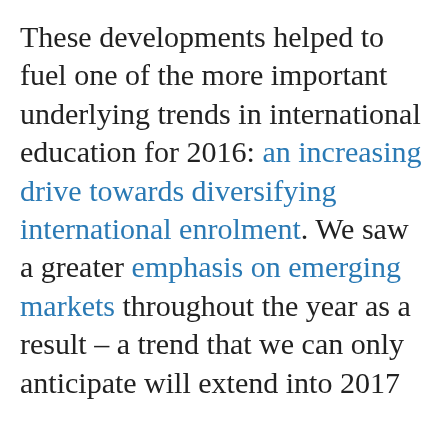These developments helped to fuel one of the more important underlying trends in international education for 2016: an increasing drive towards diversifying international enrolment. We saw a greater emphasis on emerging markets throughout the year as a result – a trend that we can only anticipate will extend into 2017